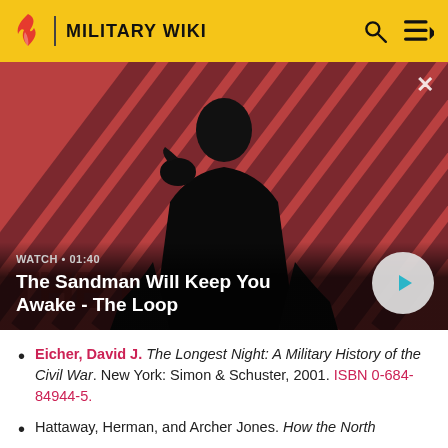MILITARY WIKI
[Figure (screenshot): Video thumbnail for 'The Sandman Will Keep You Awake - The Loop' showing a dark figure with a raven on their shoulder against a red and black diagonal striped background. Duration shown as 01:40.]
WATCH • 01:40
The Sandman Will Keep You Awake - The Loop
Eicher, David J. The Longest Night: A Military History of the Civil War. New York: Simon & Schuster, 2001. ISBN 0-684-84944-5.
Hattaway, Herman, and Archer Jones. How the North